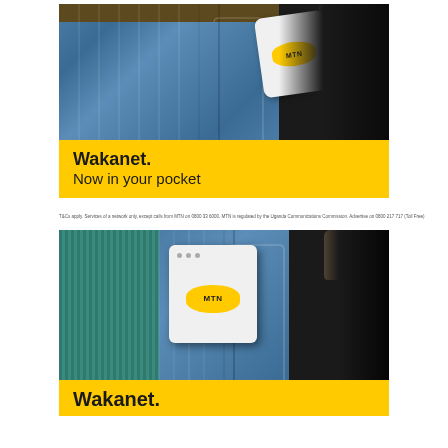[Figure (photo): MTN Wakanet pocket WiFi device being placed into a denim jeans pocket, white device with yellow MTN logo oval, dark background on right side]
Wakanet.
Now in your pocket
T&Cs apply. Services of a network only, except calls from MTN on 0800 33 6000. MTN is regulated by the Uganda Communications Commission. Advertise on 0800 217 717 (Toll Free)
[Figure (photo): MTN Wakanet pocket WiFi device being held by a hand with painted nails and placed into a denim jeans pocket with teal/green corduroy fabric visible, white device with yellow MTN logo oval, dark background on right side]
Wakanet.